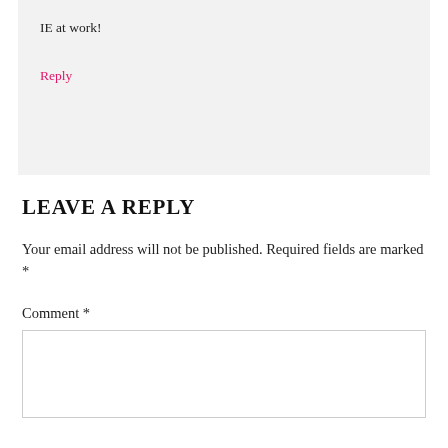IE at work!
Reply
LEAVE A REPLY
Your email address will not be published. Required fields are marked *
Comment *